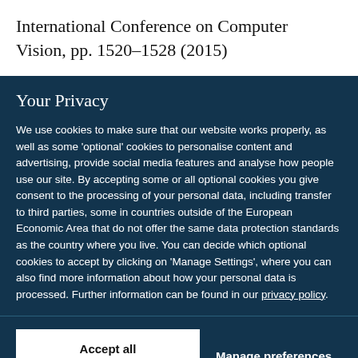International Conference on Computer Vision, pp. 1520–1528 (2015)
Your Privacy
We use cookies to make sure that our website works properly, as well as some 'optional' cookies to personalise content and advertising, provide social media features and analyse how people use our site. By accepting some or all optional cookies you give consent to the processing of your personal data, including transfer to third parties, some in countries outside of the European Economic Area that do not offer the same data protection standards as the country where you live. You can decide which optional cookies to accept by clicking on 'Manage Settings', where you can also find more information about how your personal data is processed. Further information can be found in our privacy policy.
Accept all cookies
Manage preferences